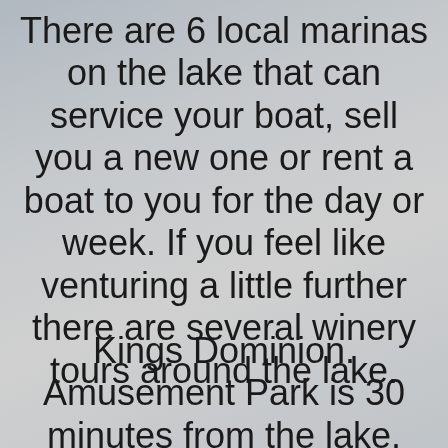There are 6 local marinas on the lake that can service your boat, sell you a new one or rent a boat to you for the day or week. If you feel like venturing a little further there are several winery tours around the lake.
Kings Dominion. Amusement Park is 30 minutes from the lake. Wintergreen